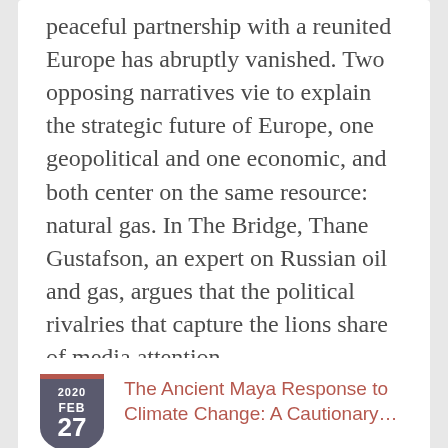peaceful partnership with a reunited Europe has abruptly vanished. Two opposing narratives vie to explain the strategic future of Europe, one geopolitical and one economic, and both center on the same resource: natural gas. In The Bridge, Thane Gustafson, an expert on Russian oil and gas, argues that the political rivalries that capture the lions share of media attention…
[Figure (other): Date badge shield showing 2020 FEB 27 with a dark grey shield shape and a red top bar]
The Ancient Maya Response to Climate Change: A Cautionary…